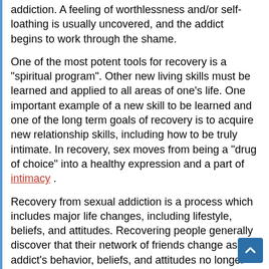addiction. A feeling of worthlessness and/or self-loathing is usually uncovered, and the addict begins to work through the shame.
One of the most potent tools for recovery is a "spiritual program". Other new living skills must be learned and applied to all areas of one's life. One important example of a new skill to be learned and one of the long term goals of recovery is to acquire new relationship skills, including how to be truly intimate. In recovery, sex moves from being a "drug of choice" into a healthy expression and a part of intimacy .
Recovery from sexual addiction is a process which includes major life changes, including lifestyle, beliefs, and attitudes. Recovering people generally discover that their network of friends change as the addict's behavior, beliefs, and attitudes no longer match old friendship networks. The sex addict stops “sexualizing” relationships with others. They challenge old, distorted thoughts about the self, the world, and others, and replace them with a more realistic worldview of life and relationships.
Marital sex changes in tone, frequency, and quality. Sex addicts stop looking to their spouse as a "provider" of sexual services. In recovery, intimate partners identify their feelings about the sexual behavior, and define and verbalize expectations and boundaries. Couples seeking to restore their relationship get honest. They recommit to the relationship. They work to restore the lost intimacy . They may now actually be having sex again for the first time in a long time. They identify problematic marital issues, including the